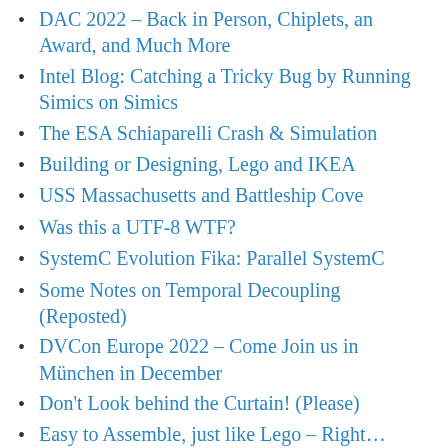DAC 2022 – Back in Person, Chiplets, an Award, and Much More
Intel Blog: Catching a Tricky Bug by Running Simics on Simics
The ESA Schiaparelli Crash & Simulation
Building or Designing, Lego and IKEA
USS Massachusetts and Battleship Cove
Was this a UTF-8 WTF?
SystemC Evolution Fika: Parallel SystemC
Some Notes on Temporal Decoupling (Reposted)
DVCon Europe 2022 – Come Join us in München in December
Don't Look behind the Curtain! (Please)
Easy to Assemble, just like Lego – Right…
Blog – Damn the Torpedoes, Full Code Ahead...